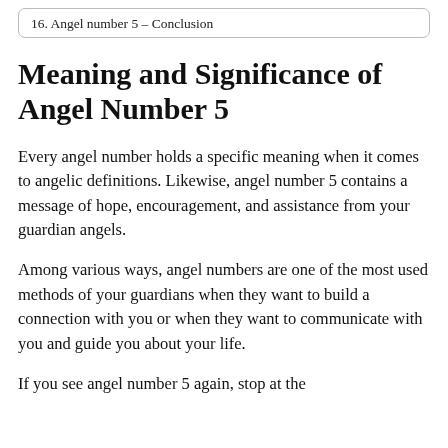16. Angel number 5 – Conclusion
Meaning and Significance of Angel Number 5
Every angel number holds a specific meaning when it comes to angelic definitions. Likewise, angel number 5 contains a message of hope, encouragement, and assistance from your guardian angels.
Among various ways, angel numbers are one of the most used methods of your guardians when they want to build a connection with you or when they want to communicate with you and guide you about your life.
If you see angel number 5 again, stop at the